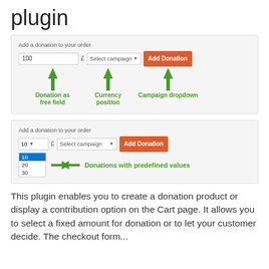plugin
[Figure (screenshot): Screenshot of a WooCommerce donation plugin UI showing two donation form variants: one with a free text field, currency position label, and campaign dropdown; another with a predefined values dropdown (10, 20, 30). Green arrows annotate 'Donation as free field', 'Currency position', 'Campaign dropdown', and 'Donations with predefined values'.]
This plugin enables you to create a donation product or display a contribution option on the Cart page. It allows you to select a fixed amount for donation or to let your customer decide. The checkout form...